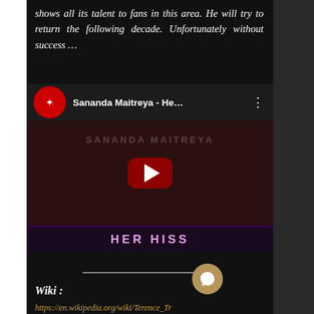shows all its talent to fans in this area. He will try to return the following decade. Unfortunately without success …
[Figure (screenshot): YouTube video embed showing Sananda Maitreya - He... with red play button and 'HER HISS' title at bottom]
Wiki :
https://en.wikipedia.org/wiki/Terence_Tr